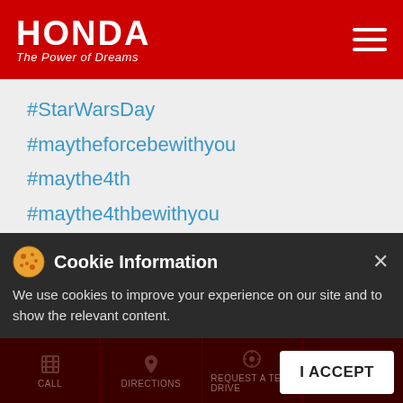[Figure (logo): Honda logo with 'The Power of Dreams' tagline on red header background]
#StarWarsDay
#maytheforcebewithyou
#maythe4th
#maythe4thbewithyou
#RushOfSupremacy
Posted On: 04 May 2021 9:00 AM
Cookie Information
We use cookies to improve your experience on our site and to show the relevant content.
I ACCEPT